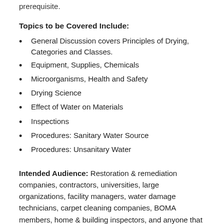prerequisite.
Topics to be Covered Include:
General Discussion covers Principles of Drying, Categories and Classes.
Equipment, Supplies, Chemicals
Microorganisms, Health and Safety
Drying Science
Effect of Water on Materials
Inspections
Procedures: Sanitary Water Source
Procedures: Unsanitary Water
Intended Audience: Restoration & remediation companies, contractors, universities, large organizations, facility managers, water damage technicians, carpet cleaning companies, BOMA members, home & building inspectors, and anyone that deals with water damage.
IICRC Exam Fees: $80.00 for WRT exam; retests will be $80.00